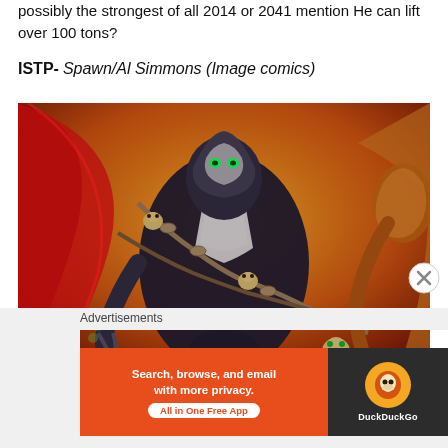possibly the strongest of all 2014 or 2041 mention He can lift over 100 tons?
ISTP- Spawn/Al Simmons (Image comics)
[Figure (photo): Comic book artwork of Spawn (Al Simmons) in black suit with white skull logo, red cape, chains with skulls, fighting other characters, orange fiery background]
Advertisements
[Figure (other): DuckDuckGo advertisement banner: 'Search, browse, and email with more privacy. All in One Free App' on orange background with DuckDuckGo logo on dark background]